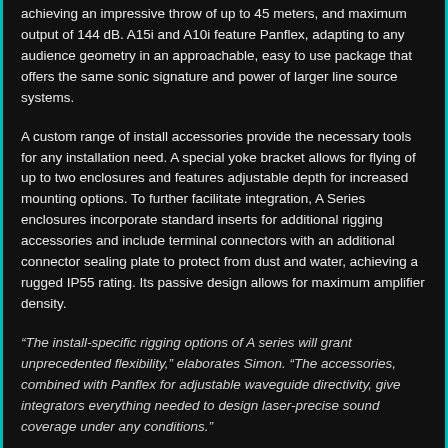achieving an impressive throw of up to 45 meters, and maximum output of 144 dB. A15i and A10i feature Panflex, adapting to any audience geometry in an approachable, easy to use package that offers the same sonic signature and power of larger line source systems.
A custom range of install accessories provide the necessary tools for any installation need. A special yoke bracket allows for flying of up to two enclosures and features adjustable depth for increased mounting options. To further facilitate integration, A Series enclosures incorporate standard inserts for additional rigging accessories and include terminal connectors with an additional connector sealing plate to protect from dust and water, achieving a rugged IP55 rating. Its passive design allows for maximum amplifier density.
“The install-specific rigging options of A series will grant unprecedented flexibility,” elaborates Simon. “The accessories, combined with Panflex for adjustable waveguide directivity, give integrators everything needed to design laser-precise sound coverage under any conditions.”